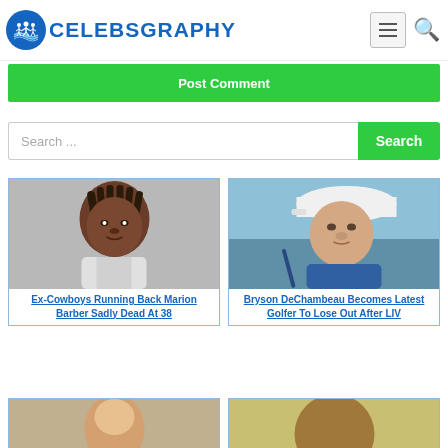[Figure (logo): Celebsgraphy website logo with circular blue icon showing figures and blue bold text CELEBSGRAPHY]
[Figure (screenshot): Green Post Comment button bar]
[Figure (screenshot): Search bar with text 'Search ...' and green Search button]
[Figure (photo): Photo of Ex-Cowboys Running Back Marion Barber headshot against gray background]
Ex-Cowboys Running Back Marion Barber Sadly Dead At 38
[Figure (photo): Photo of Bryson DeChambeau golfer wearing white cap and blue shirt, looking down]
Bryson DeChambeau Becomes Latest Golfer To Lose Out After LIV
[Figure (photo): Partial photo visible at bottom left]
[Figure (photo): Partial photo visible at bottom right]